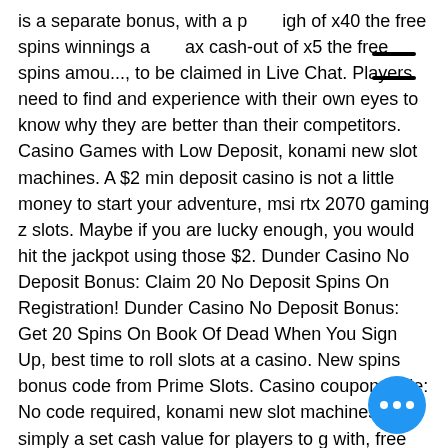is a separate bonus, with a playthrough of x40 the free spins winnings and a max cash-out of x5 the free spins amount, to be claimed in Live Chat. Players need to find and experience with their own eyes to know why they are better than their competitors. Casino Games with Low Deposit, konami new slot machines. A $2 min deposit casino is not a little money to start your adventure, msi rtx 2070 gaming z slots. Maybe if you are lucky enough, you would hit the jackpot using those $2. Dunder Casino No Deposit Bonus: Claim 20 No Deposit Spins On Registration! Dunder Casino No Deposit Bonus: Get 20 Spins On Book Of Dead When You Sign Up, best time to roll slots at a casino. New spins bonus code from Prime Slots. Casino coupon code: No code required, konami new slot machines. This is simply a set cash value for players to get with, free cash bonus no deposit casino usa.